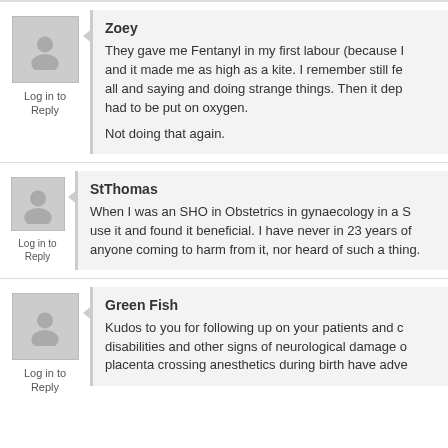Zoey
Log in to Reply
They gave me Fentanyl in my first labour (because I and it made me as high as a kite. I remember still fe all and saying and doing strange things. Then it dep had to be put on oxygen.

Not doing that again.
StThomas
Log in to Reply
When I was an SHO in Obstetrics in gynaecology in a S use it and found it beneficial. I have never in 23 years of anyone coming to harm from it, nor heard of such a thing.
Green Fish
Log in to Reply
Kudos to you for following up on your patients and c disabilities and other signs of neurological damage o placenta crossing anesthetics during birth have adve